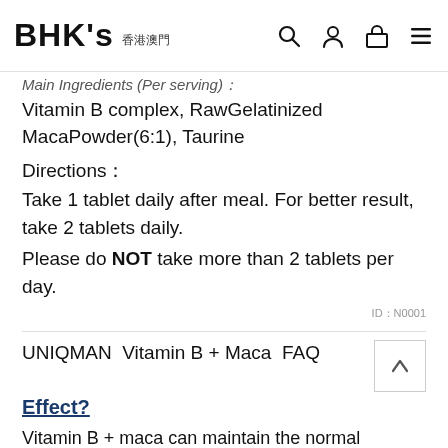BHK's 香港澳門
Main Ingredients (Per serving)：
Vitamin B complex, RawGelatinized MacaPowder(6:1), Taurine
Directions：
Take 1 tablet daily after meal. For better result, take 2 tablets daily.
Please do NOT take more than 2 tablets per day.
ID：N0001
UNIQMAN  Vitamin B + Maca  FAQ
Effect?
Vitamin B + maca can maintain the normal metabolism of energy and help the physiological function of skin and nervous system.
How to eat?